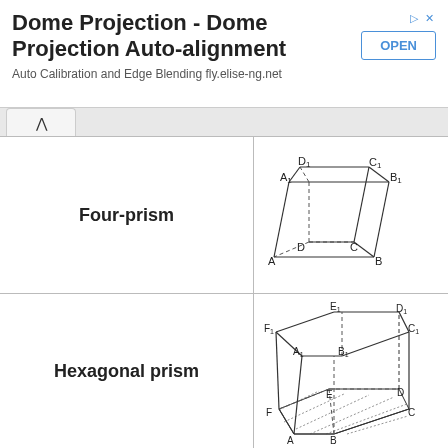[Figure (infographic): Advertisement banner: Dome Projection - Dome Projection Auto-alignment. Auto Calibration and Edge Blending fly.elise-ng.net. OPEN button.]
| Name | Diagram |
| --- | --- |
| Four-prism | [diagram of rectangular prism with vertices A,B,C,D,A1,B1,C1,D1] |
| Hexagonal prism | [diagram of hexagonal prism with vertices A,B,C,D,E,F,A1,B1,C1,D1,E1,F1 with cross-section shading] |